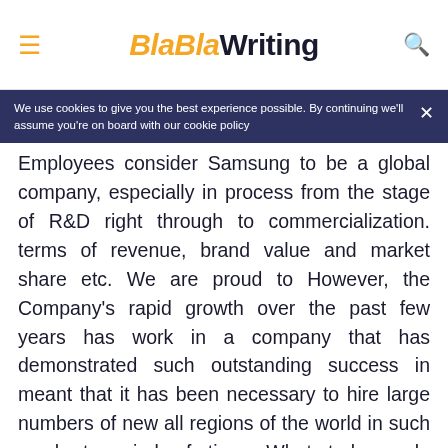BlaBlaWriting
We use cookies to give you the best experience possible. By continuing we'll assume you're on board with our cookie policy
Employees consider Samsung to be a global company, especially in process from the stage of R&D right through to commercialization. terms of revenue, brand value and market share etc. We are proud to However, the Company's rapid growth over the past few years has work in a company that has demonstrated such outstanding success in meant that it has been necessary to hire large numbers of new all regions of the world in such a short period of time. What truly made employees at all levels of the organization. In response, we have put a Samsung to continue its growth in the middle of rapid global economic lot of effort into rapidly orienting new employees and preparing existing changes and challenging industry trends were our people. I believe our employees for new